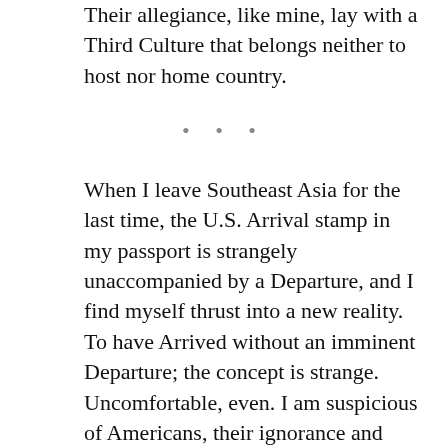Their allegiance, like mine, lay with a Third Culture that belongs neither to host nor home country.
• • •
When I leave Southeast Asia for the last time, the U.S. Arrival stamp in my passport is strangely unaccompanied by a Departure, and I find myself thrust into a new reality. To have Arrived without an imminent Departure; the concept is strange. Uncomfortable, even. I am suspicious of Americans, their ignorance and ideologies, and even more skeptical of their churches, which I imagine to be filled with the kinds of people who asked me if I rode elephants to school as a child. These were the people who, when visiting Southeast Asia, arrived fresh from the first world, suitcases packed with bottles of imported water and phobias of tropical maladies; or who would ask, as one woman did while I stood mute and disbelieving in front of my family's "Mission to